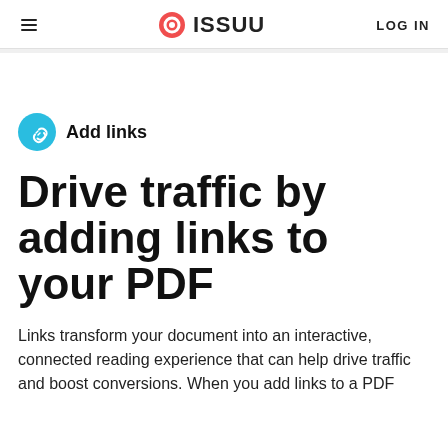ISSUU  LOG IN
Add links
Drive traffic by adding links to your PDF
Links transform your document into an interactive, connected reading experience that can help drive traffic and boost conversions. When you add links to a PDF